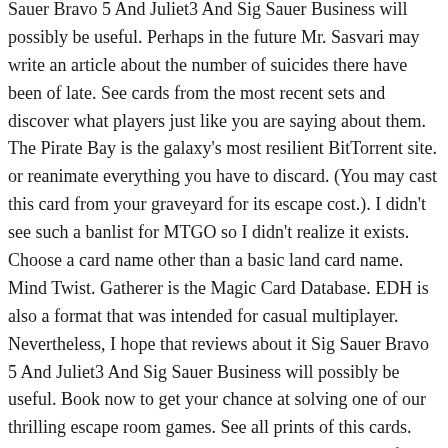Sauer Bravo 5 And Juliet3 And Sig Sauer Business will possibly be useful. Perhaps in the future Mr. Sasvari may write an article about the number of suicides there have been of late. See cards from the most recent sets and discover what players just like you are saying about them. The Pirate Bay is the galaxy's most resilient BitTorrent site. or reanimate everything you have to discard. (You may cast this card from your graveyard for its escape cost.). I didn't see such a banlist for MTGO so I didn't realize it exists. Choose a card name other than a basic land card name. Mind Twist. Gatherer is the Magic Card Database. EDH is also a format that was intended for casual multiplayer. Nevertheless, I hope that reviews about it Sig Sauer Bravo 5 And Juliet3 And Sig Sauer Business will possibly be useful. Book now to get your chance at solving one of our thrilling escape room games. See all prints of this cards. President Trump listens during a presidential medal of freedom ceremony in the Oval Office on Thursday. BERLIN (AP) — Digital rights campaigners on